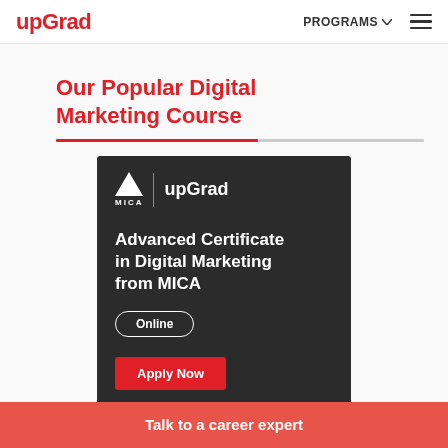upGrad | PROGRAMS ☰
Our Popular Digital Marketing Course
[Figure (screenshot): Course card with dark background showing MICA and upGrad logos, title 'Advanced Certificate in Digital Marketing from MICA', Online pill badge, and Apply Now red button]
Talk to a career expert